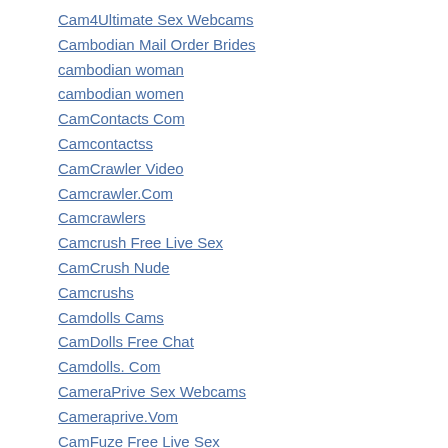Cam4Ultimate Sex Webcams
Cambodian Mail Order Brides
cambodian woman
cambodian women
CamContacts Com
Camcontactss
CamCrawler Video
Camcrawler.Com
Camcrawlers
Camcrush Free Live Sex
CamCrush Nude
Camcrushs
Camdolls Cams
CamDolls Free Chat
Camdolls. Com
CameraPrive Sex Webcams
Cameraprive.Vom
CamFuze Free Live Sex
Camfuzo Latina